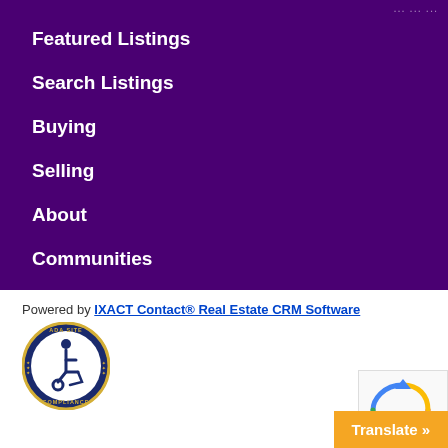Featured Listings
Search Listings
Buying
Selling
About
Communities
Powered by IXACT Contact® Real Estate CRM Software
[Figure (logo): ADA Site Compliance badge with wheelchair accessibility symbol]
[Figure (logo): reCAPTCHA logo badge]
Translate »